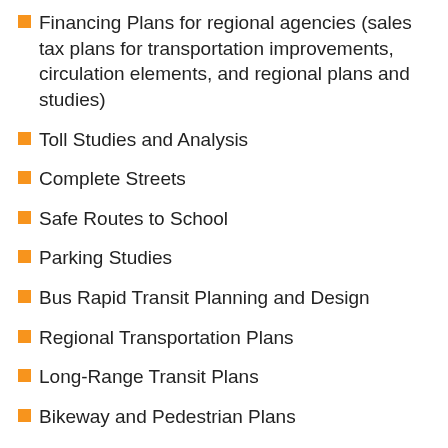Financing Plans for regional agencies (sales tax plans for transportation improvements, circulation elements, and regional plans and studies)
Toll Studies and Analysis
Complete Streets
Safe Routes to School
Parking Studies
Bus Rapid Transit Planning and Design
Regional Transportation Plans
Long-Range Transit Plans
Bikeway and Pedestrian Plans
Transportation and Land Use Integration Plans